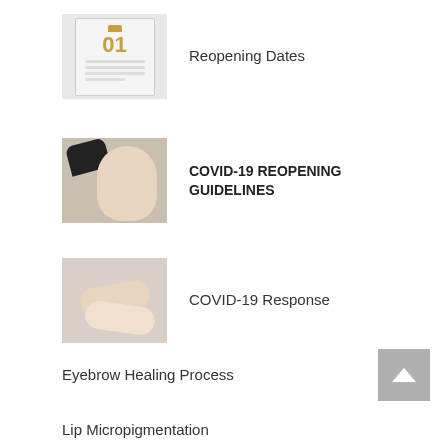[Figure (photo): Person holding a clipboard with a calendar showing the number 01]
Reopening Dates
[Figure (photo): Esthetician in black gloves performing eyebrow treatment on a woman with white headband]
COVID-19 REOPENING GUIDELINES
[Figure (photo): Healthcare worker's hands touching a patient's hands, both in white attire]
COVID-19 Response
Eyebrow Healing Process
[Figure (other): Back to top button with upward arrow]
Lip Micropigmentation